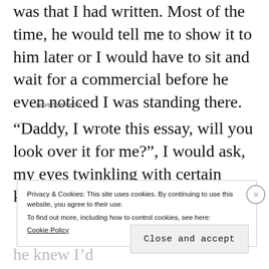was that I had written. Most of the time, he would tell me to show it to him later or I would have to sit and wait for a commercial before he even noticed I was standing there.
Advertisements
“Daddy, I wrote this essay, will you look over it for me?”, I would ask, my eyes twinkling with certain knowledge that
Privacy & Cookies: This site uses cookies. By continuing to use this website, you agree to their use.
To find out more, including how to control cookies, see here:
Cookie Policy
Close and accept
he knew I’d done my best.